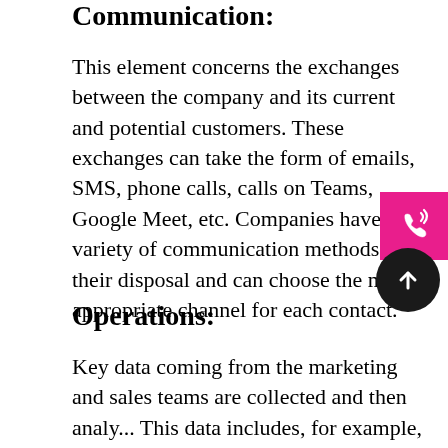Communication:
This element concerns the exchanges between the company and its current and potential customers. These exchanges can take the form of emails, SMS, phone calls, calls on Teams, Google Meet, etc. Companies have a variety of communication methods at their disposal and can choose the most appropriate channel for each contact.
Operations:
Key data coming from the marketing and sales teams are collected and then analy... This data includes, for example, sales proposals, orders placed, or returns. It is thus possible to have an overview of all important
[Figure (illustration): Pink phone button with ringing phone icon in bottom-right corner, and a dark circular up-arrow button below it]